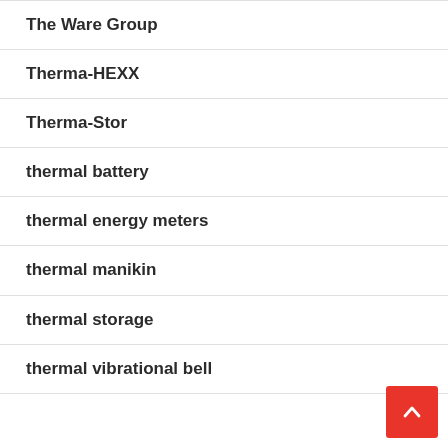The Ware Group
Therma-HEXX
Therma-Stor
thermal battery
thermal energy meters
thermal manikin
thermal storage
thermal vibrational bell